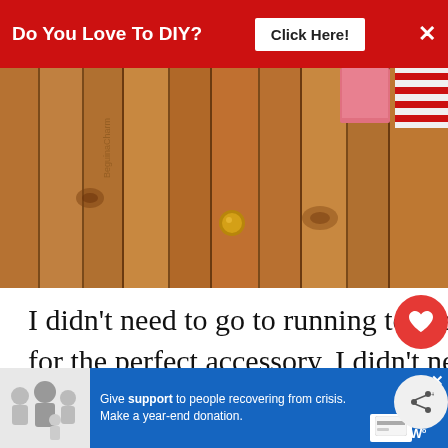[Figure (other): Red banner advertisement: 'Do You Love To DIY? Click Here!' with X close button]
[Figure (photo): Photograph of a wooden door/panel with vertical pine boards, a brass knob, and fabric hanging at top right (pink and red/white striped towel)]
I didn't need to go to running to the store for the perfect accessory, I didn't need to spend a dime, I didn't add to the stash of holiday stuff I may or may not ever use again and my little festive pop took me le...
[Figure (other): Bottom banner ad for crisis support: 'Give support to people recovering from crisis. Make a year-end donation.' with close X and payment icons]